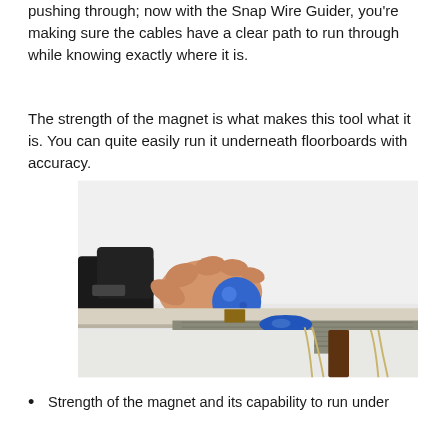pushing through; now with the Snap Wire Guider, you're making sure the cables have a clear path to run through while knowing exactly where it is.
The strength of the magnet is what makes this tool what it is. You can quite easily run it underneath floorboards with accuracy.
[Figure (photo): A hand holding a blue magnetic ball tool on top of a flat surface (table or floorboard), with another blue magnetic piece visible underneath the surface and wires/cables running from below, demonstrating the Snap Wire Guider tool in use.]
Strength of the magnet and its capability to run under